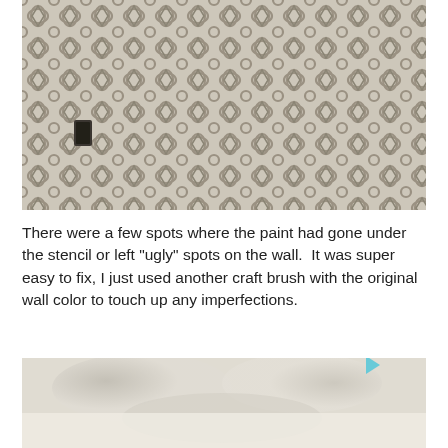[Figure (photo): A wall covered in a repeating geometric stencil pattern in taupe/gray on a light cream background, with a light switch visible on the left side.]
There were a few spots where the paint had gone under the stencil or left "ugly" spots on the wall.  It was super easy to fix, I just used another craft brush with the original wall color to touch up any imperfections.
[Figure (photo): A partially visible blurred photo below the text, showing a light beige/cream background with soft shadows, with a small play/forward icon in the lower right.]